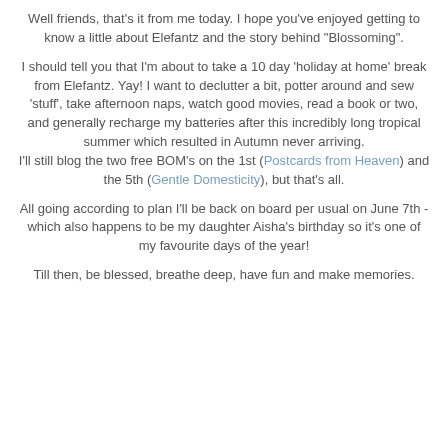Well friends, that's it from me today. I hope you've enjoyed getting to know a little about Elefantz and the story behind "Blossoming".
I should tell you that I'm about to take a 10 day 'holiday at home' break from Elefantz. Yay! I want to declutter a bit, potter around and sew 'stuff', take afternoon naps, watch good movies, read a book or two, and generally recharge my batteries after this incredibly long tropical summer which resulted in Autumn never arriving.
I'll still blog the two free BOM's on the 1st (Postcards from Heaven) and the 5th (Gentle Domesticity), but that's all.
All going according to plan I'll be back on board per usual on June 7th - which also happens to be my daughter Aisha's birthday so it's one of my favourite days of the year!
Till then, be blessed, breathe deep, have fun and make memories.